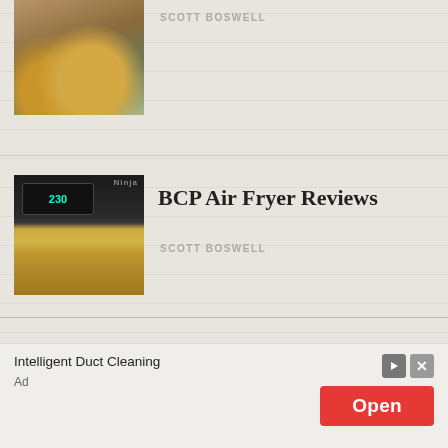[Figure (photo): Partial view of a food article thumbnail showing fried food with lime and dipping sauce]
SCOTT BOSWELL
[Figure (photo): Ninja air fryer with digital display showing 230 degrees, filled with French fries]
BCP Air Fryer Reviews
SCOTT BOSWELL
Reply
Intelligent Duct Cleaning
Ad
Open